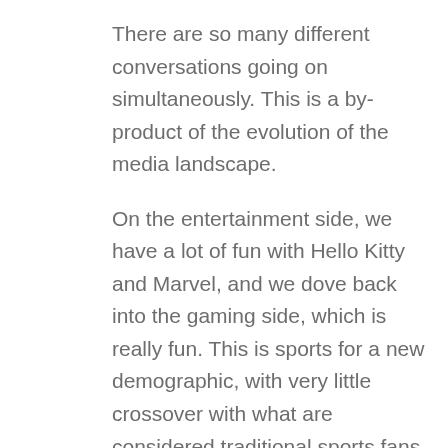There are so many different conversations going on simultaneously. This is a by-product of the evolution of the media landscape.
On the entertainment side, we have a lot of fun with Hello Kitty and Marvel, and we dove back into the gaming side, which is really fun. This is sports for a new demographic, with very little crossover with what are considered traditional sports fans, and this acquisition gives us the ability to leverage the expertise of AlphaDraft's team, while helping their efforts in customer acquisition and building awareness of this new industry. Lionel Messi 3. Los Angeles Rams Upcoming Super Bowl Games • Super Bowl LV Raymond James